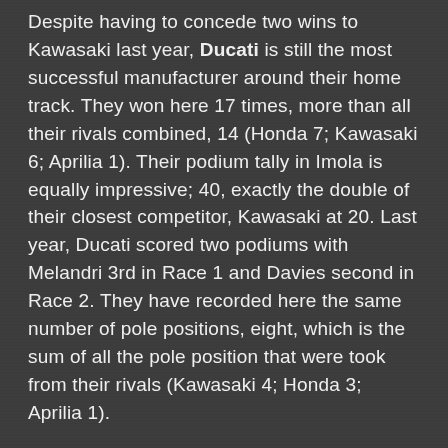Despite having to concede two wins to Kawasaki last year, Ducati is still the most successful manufacturer around their home track. They won here 17 times, more than all their rivals combined, 14 (Honda 7; Kawasaki 6; Aprilia 1). Their podium tally in Imola is equally impressive; 40, exactly the double of their closest competitor, Kawasaki at 20. Last year, Ducati scored two podiums with Melandri 3rd in Race 1 and Davies second in Race 2. They have recorded here the same number of pole positions, eight, which is the sum of all the pole position that were took from their rivals (Kawasaki 4; Honda 3; Aprilia 1).
Honda holds the runner-up spot for race wins in Imola with seven. In the last three years, they have seen their position come under attack by Kawasaki, which now is at 6 wins, four of them scored by Jonathan Rea. Ironically, the last three wins for Honda were scored by the same Rea in 2011 Race 1 and both in 2011 Race...